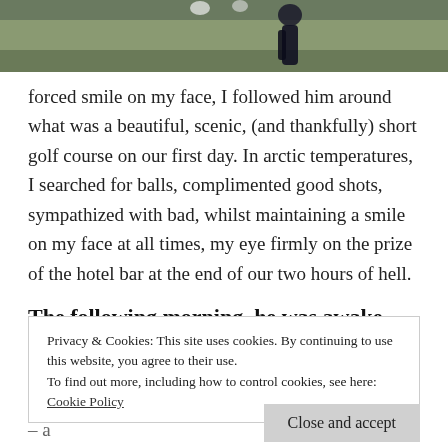[Figure (photo): Partial top photo of a golf course scene with a dark silhouette figure on grass]
forced smile on my face, I followed him around what was a beautiful, scenic, (and thankfully) short golf course on our first day. In arctic temperatures, I searched for balls, complimented good shots, sympathized with bad, whilst maintaining a smile on my face at all times, my eye firmly on the prize of the hotel bar at the end of our two hours of hell.
The following morning, he was awake three hours
Privacy & Cookies: This site uses cookies. By continuing to use this website, you agree to their use.
To find out more, including how to control cookies, see here:
Cookie Policy
Close and accept
we met up again later that morning, to play tennis – a